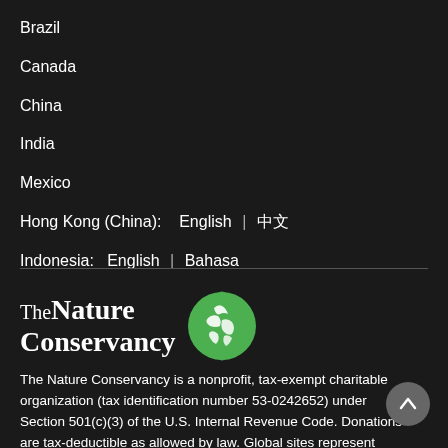Brazil
Canada
China
India
Mexico
Hong Kong (China):    English  |  中文
Indonesia:   English  |  Bahasa
[Figure (logo): The Nature Conservancy logo with green globe icon]
The Nature Conservancy is a nonprofit, tax-exempt charitable organization (tax identification number 53-0242652) under Section 501(c)(3) of the U.S. Internal Revenue Code. Donations are tax-deductible as allowed by law. Global sites represent either regional branches of The Nature Conservancy or local affiliates of The Nature Conservancy that are separate entities.